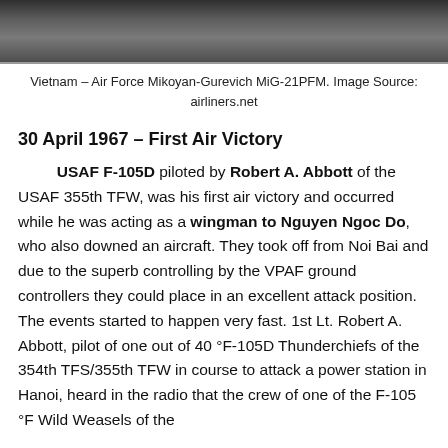[Figure (photo): Grayscale photograph of a Vietnam Air Force Mikoyan-Gurevich MiG-21PFM aircraft, cropped to show the upper portion.]
Vietnam – Air Force Mikoyan-Gurevich MiG-21PFM. Image Source: airliners.net
30 April 1967 – First Air Victory
USAF F-105D piloted by Robert A. Abbott of the USAF 355th TFW, was his first air victory and occurred while he was acting as a wingman to Nguyen Ngoc Do, who also downed an aircraft. They took off from Noi Bai and due to the superb controlling by the VPAF ground controllers they could place in an excellent attack position. The events started to happen very fast. 1st Lt. Robert A. Abbott, pilot of one out of 40 °F-105D Thunderchiefs of the 354th TFS/355th TFW in course to attack a power station in Hanoi, heard in the radio that the crew of one of the F-105 °F Wild Weasels of the